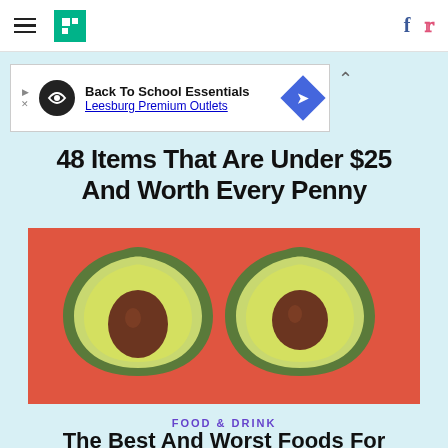HuffPost navigation with hamburger menu, logo, Facebook and Twitter icons
[Figure (infographic): Ad banner for Back To School Essentials - Leesburg Premium Outlets]
48 Items That Are Under $25 And Worth Every Penny
[Figure (photo): Two heart-shaped avocado halves with pits on a coral/red background]
FOOD & DRINK
The Best And Worst Foods For Your Heart, According To